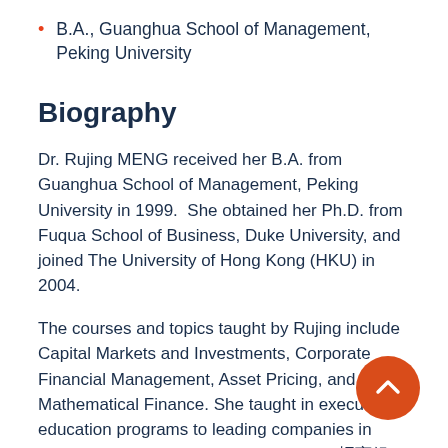B.A., Guanghua School of Management, Peking University
Biography
Dr. Rujing MENG received her B.A. from Guanghua School of Management, Peking University in 1999.  She obtained her Ph.D. from Fuqua School of Business, Duke University, and joined The University of Hong Kong (HKU) in 2004.
The courses and topics taught by Rujing include Capital Markets and Investments, Corporate Financial Management, Asset Pricing, and Mathematical Finance. She taught in executive education programs to leading companies in China, such as China Merchants Bank (招商银行), HNA Group (海航集团), and Industrial and